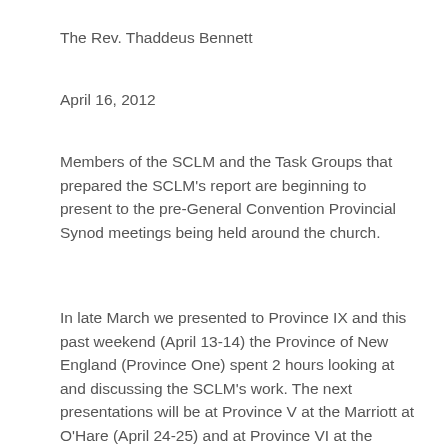The Rev. Thaddeus Bennett
April 16, 2012
Members of the SCLM and the Task Groups that prepared the SCLM's report are beginning to present to the pre-General Convention Provincial Synod meetings being held around the church.
In late March we presented to Province IX and this past weekend (April 13-14) the Province of New England (Province One) spent 2 hours looking at and discussing the SCLM's work.  The next presentations will be at Province V at the Marriott at O'Hare (April 24-25) and at Province VI at the Doubletree, Omaha (April 26-28).  The purpose of all these presentations